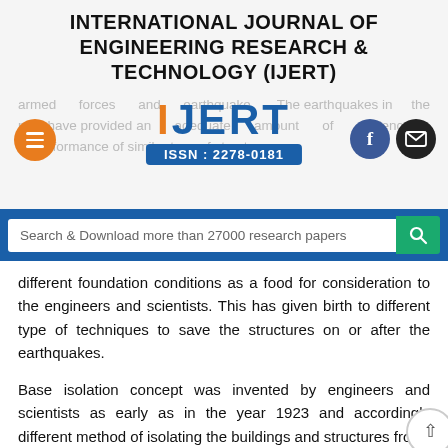INTERNATIONAL JOURNAL OF ENGINEERING RESEARCH & TECHNOLOGY (IJERT)
[Figure (logo): IJERT logo with orange I, blue JERT text and blue ISSN bar reading ISSN : 2278-0181, with hamburger menu icon (orange circle) on left and Facebook/email icons on right. Faded background text about armed forces and earthquake.]
[Figure (screenshot): Search bar with text 'Search & Download more than 27000 research papers' and a teal search button with magnifying glass icon]
different foundation conditions as a food for consideration to the engineers and scientists. This has given birth to different type of techniques to save the structures on or after the earthquakes.
Base isolation concept was invented by engineers and scientists as early as in the year 1923 and accordingly different method of isolating the buildings and structures from